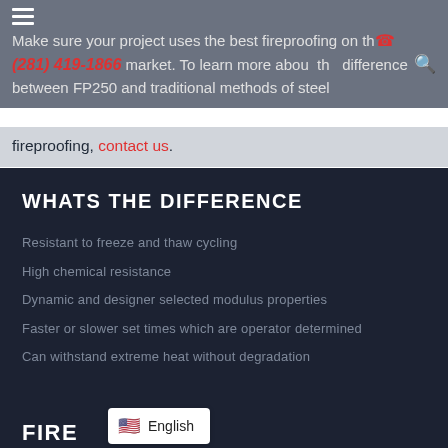Make sure your project uses the best fireproofing on the market. To learn more about the difference between FP250 and traditional methods of steel fireproofing, contact us.
WHATS THE DIFFERENCE
Resistant to freeze and thaw cycling
High chemical resistance
Dynamic and designer selected modulus properties
Faster or slower set times which are operator determined
Can withstand extreme heat without degradation
FIRE